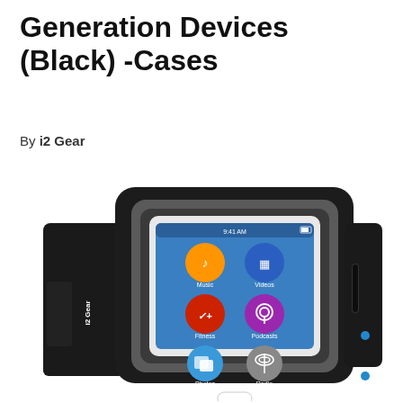Generation Devices (Black) -Cases
By i2 Gear
[Figure (photo): A black sports armband case for iPod Nano 7th generation by i2 Gear. The armband is black neoprene with a gray accent border around a clear window displaying an iPod Nano with a blue screen showing Music, Videos, Fitness (Nike+), Podcasts, Photos, and Radio apps. The i2 Gear logo label is visible on the left strap. There is an earphone cable management slot on the right side of the armband. Blue i2 Gear accent dots are visible on the right side.]